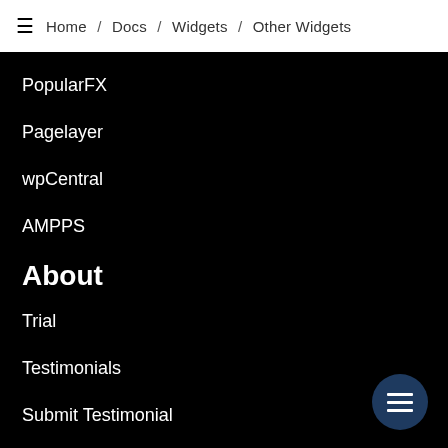≡  Home / Docs / Widgets / Other Widgets
PopularFX
Pagelayer
wpCentral
AMPPS
About
Trial
Testimonials
Submit Testimonial
Terms of service
Privacy Policy
NOC